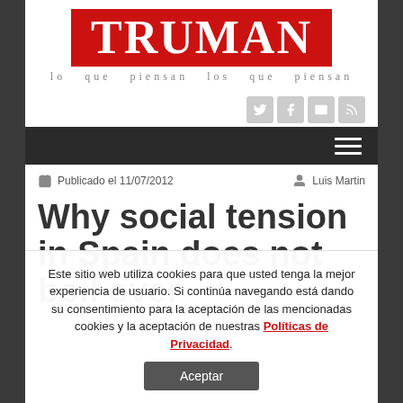[Figure (logo): TRUMAN logo — white letters on red background with tagline 'lo que piensan los que piensan']
Publicado el 11/07/2012   Luis Martin
Why social tension in Spain does not boil over
Este sitio web utiliza cookies para que usted tenga la mejor experiencia de usuario. Si continúa navegando está dando su consentimiento para la aceptación de las mencionadas cookies y la aceptación de nuestras Políticas de Privacidad.
Aceptar